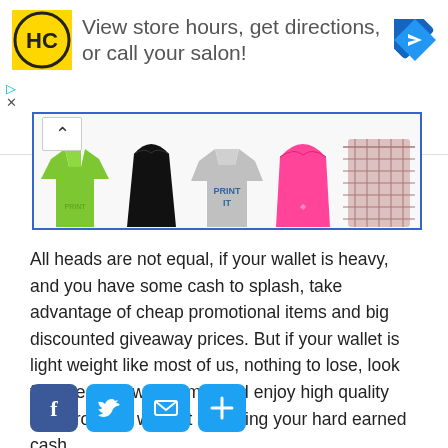[Figure (screenshot): Advertisement banner with HC logo, text 'View store hours, get directions, or call your salon!', and navigation arrow icon]
[Figure (photo): Clothing items strip showing green shirt, black tank top, grey shirt with 'PRINT IT', pink sleeveless top, and plaid pants]
All heads are not equal, if your wallet is heavy, and you have some cash to splash, take advantage of cheap promotional items and big discounted giveaway prices. But if your wallet is light weight like most of us, nothing to lose, look for free giveaway items, and enjoy high quality free products without spending your hard earned cash.
[Figure (infographic): Social sharing buttons: Facebook, Twitter, Email, and Plus/Share icons in blue rounded squares]